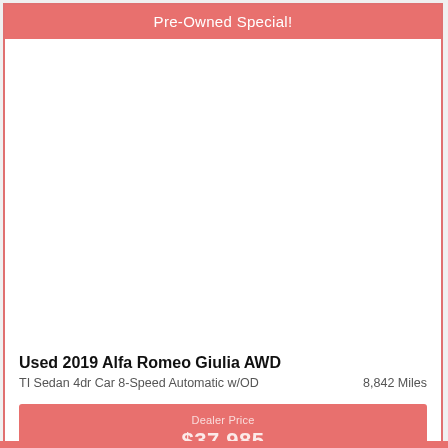Pre-Owned Special!
[Figure (photo): Photo area for used 2019 Alfa Romeo Giulia AWD (blank/white in this rendering)]
Used 2019 Alfa Romeo Giulia AWD
TI Sedan 4dr Car 8-Speed Automatic w/OD    8,842 Miles
Dealer Price
$37,985